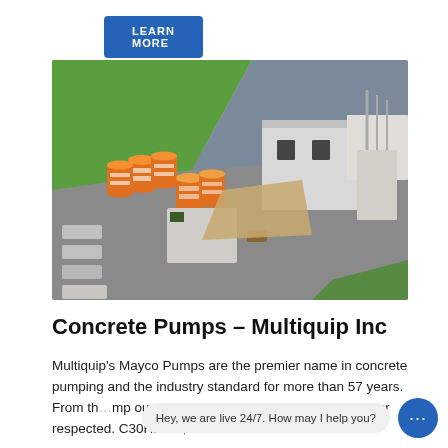[Figure (illustration): A blue 'LEARN MORE' button partially visible at the top of the page]
[Figure (photo): Aerial isometric view of a concrete batching plant facility with orange and white cylindrical silos, industrial buildings, trucks, and surrounding greenery]
Concrete Pumps - Multiquip Inc
Multiquip's Mayco Pumps are the premier name in concrete pumping and the industry standard for more than 57 years. From th... mp our new advanc... pump is more trusted or respected. C30HDGA, Z416